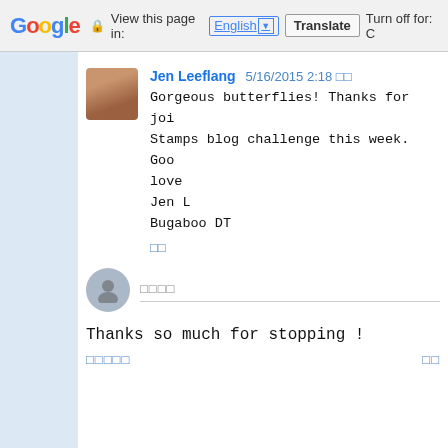Google  View this page in: English [▼]  Translate  Turn off for: C
[Figure (photo): Profile photo of Jen Leeflang, a woman with light skin and hair pulled back]
Jen Leeflang 5/16/2015 2:18 □□
Gorgeous butterflies! Thanks for joi
Stamps blog challenge this week. Goo
love
Jen L
Bugaboo DT
□□
[Figure (photo): Anonymous user silhouette avatar icon]
□□□□
Thanks so much for stopping !
□□□□□                                              □□